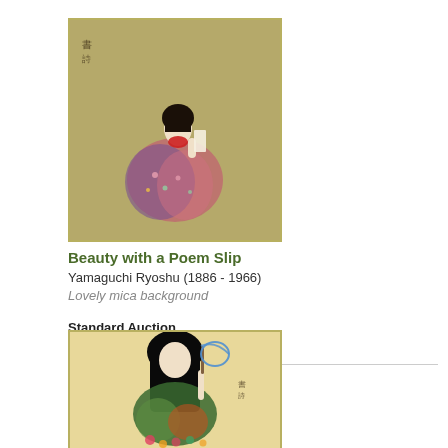[Figure (illustration): Japanese painting of a seated female beauty in floral kimono holding a poem slip, on olive/khaki background with calligraphy]
Beauty with a Poem Slip
Yamaguchi Ryoshu (1886 - 1966)
Lovely mica background
Standard Auction
Item Closed
[Figure (illustration): Japanese painting of a figure with long black hair holding a blue butterfly net, wearing green and orange garments, on gold background with flowers]